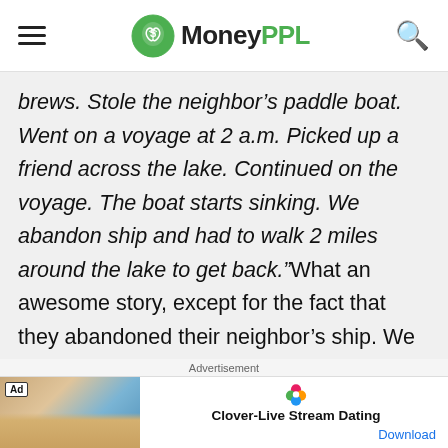MoneyPPL
brews. Stole the neighbor’s paddle boat. Went on a voyage at 2 a.m. Picked up a friend across the lake. Continued on the voyage. The boat starts sinking. We abandon ship and had to walk 2 miles around the lake to get back.” What an awesome story, except for the fact that they abandoned their neighbor’s ship. We can assume their
[Figure (other): Advertisement banner for Clover-Live Stream Dating app with Ad badge, app icon, title, and Download link]